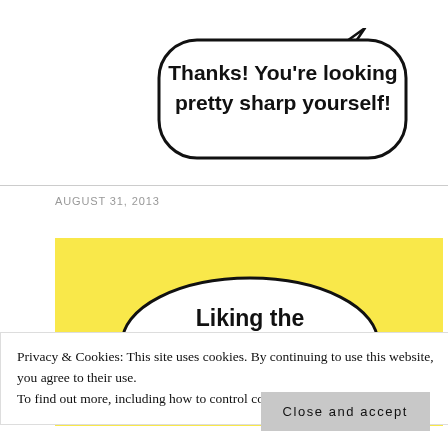[Figure (illustration): Comic speech bubble with handwritten text: Thanks! You're looking pretty sharp yourself!]
AUGUST 31, 2013
[Figure (illustration): Yellow background comic panel with speech bubble containing handwritten text: Liking the natural look!]
Privacy & Cookies: This site uses cookies. By continuing to use this website, you agree to their use.
To find out more, including how to control cookies, see here: Cookie Policy
Close and accept